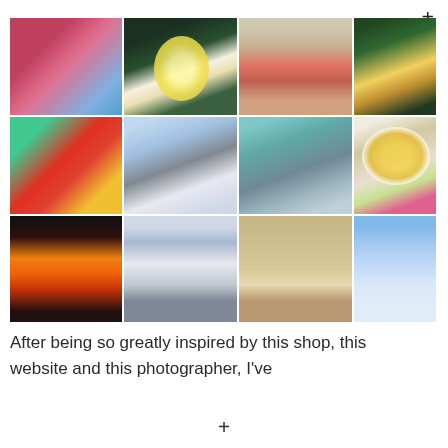[Figure (photo): A collage of 12 photographs arranged in a 4-column, 3-row grid. Images include pink blossoms, a white daffodil, pink flip-flops/sandals, a lit tower at night, colorful red and yellow flowers on teal background, a person on a white horse, a bridge/pier, a daisy, draped fabric/curtains, a sunset over water, reflective water landscape, and cherry blossoms against blue sky.]
After being so greatly inspired by this shop, this website and this photographer, I've
+